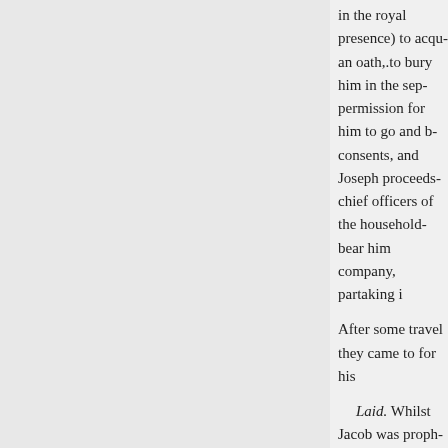in the royal presence) to acqu an oath,.to bury him in the sep permission for him to go and b consents, and Joseph proceeds chief officers of the household bear him company, partaking i
After some travel they came to for his
Laid. Whilst Jacob was proph but when he had done speaking and departed.
+ Embalm. This being the fir countenance a supposition, that afterwards on great and solemn it might from them come into u
The manner of embalming deac
A dissector, with a sharp Eth immediately hurried away from
« Anterior